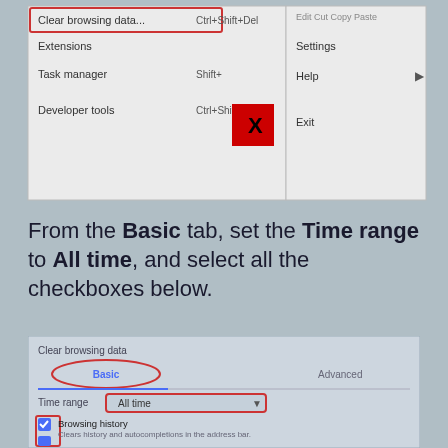[Figure (screenshot): Chrome browser menu showing options: Clear browsing data (highlighted with red border), Extensions, Task manager, Developer tools on left panel; Settings, Help, Exit on right panel. A red X button overlays the menu near 'Task manager'.]
From the Basic tab, set the Time range to All time, and select all the checkboxes below.
[Figure (screenshot): Chrome 'Clear browsing data' dialog showing: title 'Clear browsing data', Basic tab (circled in red) selected with underline, Advanced tab. Time range dropdown set to 'All time' (bordered in red). Checkboxes section (bordered in red) showing: Browsing history checked (Clears history and autocompletions in the address bar), Cookies and other site data checked (Signs you out of most sites), Cached images and files (partially visible).]